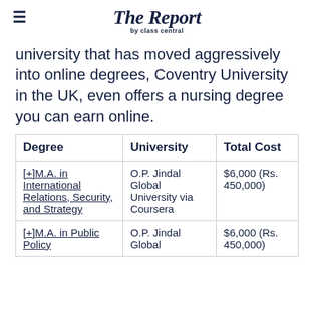The Report by class central
university that has moved aggressively into online degrees, Coventry University in the UK, even offers a nursing degree you can earn online.
| Degree | University | Total Cost |
| --- | --- | --- |
| [+]M.A. in International Relations, Security, and Strategy | O.P. Jindal Global University via Coursera | $6,000 (Rs. 450,000) |
| [+]M.A. in Public Policy | O.P. Jindal Global | $6,000 (Rs. 450,000) |